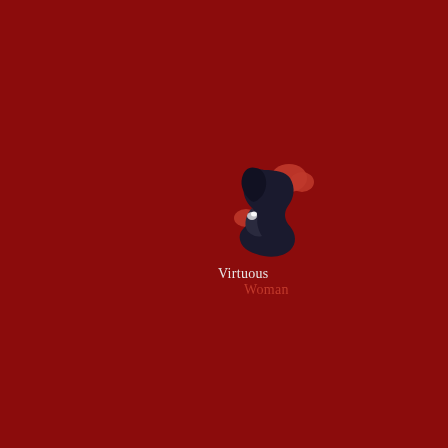[Figure (logo): Virtuous Woman logo: a silhouette of a woman's profile in dark/black with red accents (boxing gloves or red elements), centered slightly right and below middle of a deep red background. Below the figure are the words 'Virtuous' in light/white text and 'Woman' in red text.]